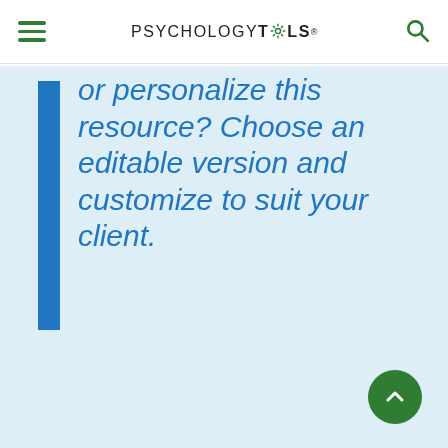PSYCHOLOGYTOOLS
or personalize this resource? Choose an editable version and customize to suit your client.